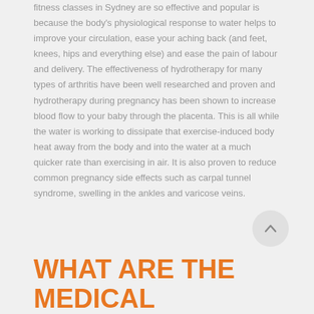fitness classes in Sydney are so effective and popular is because the body's physiological response to water helps to improve your circulation, ease your aching back (and feet, knees, hips and everything else) and ease the pain of labour and delivery. The effectiveness of hydrotherapy for many types of arthritis have been well researched and proven and hydrotherapy during pregnancy has been shown to increase blood flow to your baby through the placenta. This is all while the water is working to dissipate that exercise-induced body heat away from the body and into the water at a much quicker rate than exercising in air. It is also proven to reduce common pregnancy side effects such as carpal tunnel syndrome, swelling in the ankles and varicose veins.
WHAT ARE THE MEDICAL